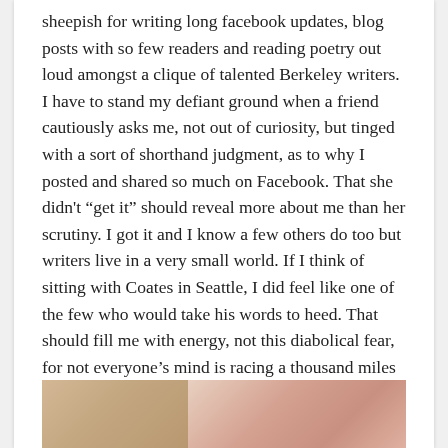sheepish for writing long facebook updates, blog posts with so few readers and reading poetry out loud amongst a clique of talented Berkeley writers. I have to stand my defiant ground when a friend cautiously asks me, not out of curiosity, but tinged with a sort of shorthand judgment, as to why I posted and shared so much on Facebook. That she didn't “get it” should reveal more about me than her scrutiny. I got it and I know a few others do too but writers live in a very small world. If I think of sitting with Coates in Seattle, I did feel like one of the few who would take his words to heed. That should fill me with energy, not this diabolical fear, for not everyone’s mind is racing a thousand miles per minute, as I gorge myself with long-form essays, and hours a week writing drafts nobody may ever read.
[Figure (photo): Partial view of an image at the bottom of the page, showing what appears to be food or floral items in warm beige and pink tones.]